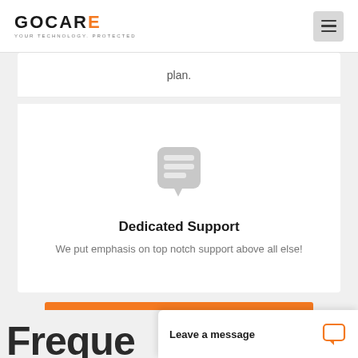GOCARE — YOUR TECHNOLOGY. PROTECTED
plan.
[Figure (illustration): Chat/support icon: a speech bubble shape in light grey with horizontal lines inside representing text, pointing downward.]
Dedicated Support
We put emphasis on top notch support above all else!
GET A FREE QUOTE
Freque
Leave a message